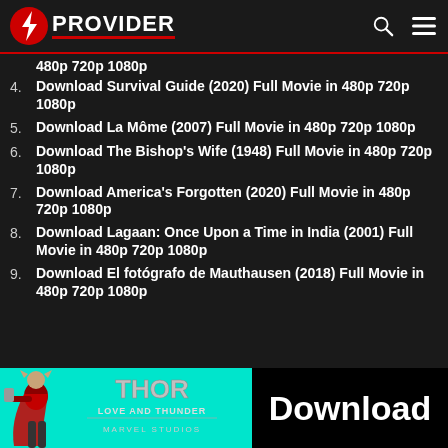OP PROVIDER
480p 720p 1080p
4. Download Survival Guide (2020) Full Movie in 480p 720p 1080p
5. Download La Môme (2007) Full Movie in 480p 720p 1080p
6. Download The Bishop's Wife (1948) Full Movie in 480p 720p 1080p
7. Download America's Forgotten (2020) Full Movie in 480p 720p 1080p
8. Download Lagaan: Once Upon a Time in India (2001) Full Movie in 480p 720p 1080p
9. Download El fotógrafo de Mauthausen (2018) Full Movie in 480p 720p 1080p
[Figure (infographic): Thor Love and Thunder movie download advertisement banner with Thor character, movie logo, and Download button]